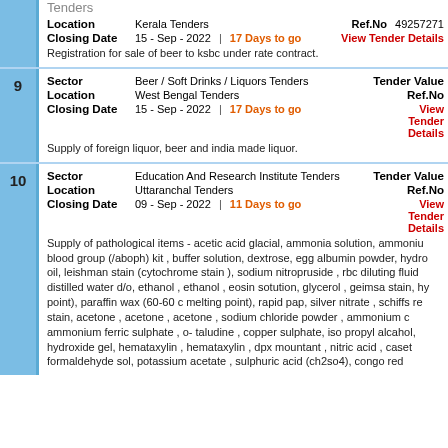Tenders
Location: Kerala Tenders | Ref.No: 49257271
Closing Date: 15 - Sep - 2022 | 17 Days to go | View Tender Details
Registration for sale of beer to ksbc under rate contract.
9 | Sector: Beer / Soft Drinks / Liquors Tenders | Tender Value
Location: West Bengal Tenders | Ref.No
Closing Date: 15 - Sep - 2022 | 17 Days to go | View Tender Details
Supply of foreign liquor, beer and india made liquor.
10 | Sector: Education And Research Institute Tenders | Tender Value
Location: Uttaranchal Tenders | Ref.No
Closing Date: 09 - Sep - 2022 | 11 Days to go | View Tender Details
Supply of pathological items - acetic acid glacial, ammonia solution, ammonium blood group (/aboph) kit , buffer solution, dextrose, egg albumin powder, hydro oil, leishman stain (cytochrome stain ), sodium nitropruside , rbc diluting fluid distilled water d/o, ethanol , ethanol , eosin sotution, glycerol , geimsa stain, hy point), paraffin wax (60-60 c melting point), rapid pap, silver nitrate , schiffs re stain, acetone , acetone , acetone , sodium chloride powder , ammonium c ammonium ferric sulphate , o- taludine , copper sulphate, iso propyl alcahol, hydroxide gel, hemataxylin , hemataxylin , dpx mountant , nitric acid , caset formaldehyde sol, potassium acetate , sulphuric acid (ch2so4), congo red